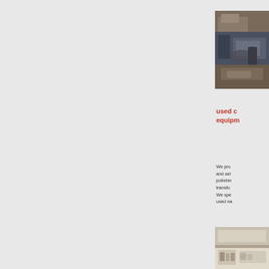[Figure (photo): Industrial/workshop photo showing machinery and equipment, partially visible at right edge of page]
used c
equipm
We pro
and sel
polishin
transfo
We spe
used na
[Figure (photo): Indoor facility or showroom photo, partially visible at bottom right edge of page]